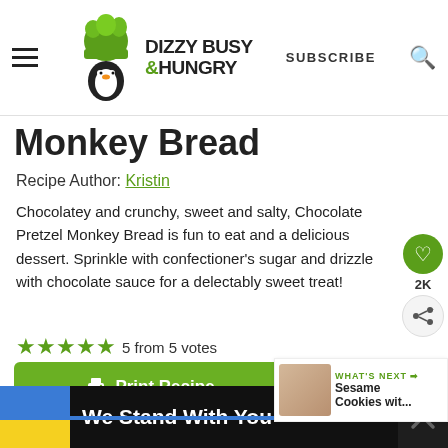Dizzy Busy & Hungry — SUBSCRIBE
Monkey Bread
Recipe Author: Kristin
Chocolatey and crunchy, sweet and salty, Chocolate Pretzel Monkey Bread is fun to eat and a delicious dessert. Sprinkle with confectioner's sugar and drizzle with chocolate sauce for a delectably sweet treat!
5 from 5 votes
[Figure (other): Print Recipe button (green background)]
[Figure (photo): What's Next thumbnail: Sesame Cookies wit...]
[Figure (other): Advertisement banner: We Stand With You with blue and yellow flag]